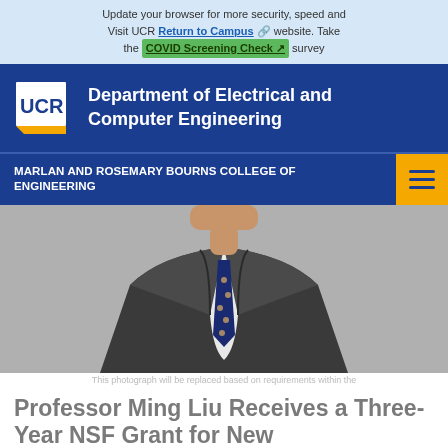Update your browser for more security, speed and Visit UCR Return to Campus website. Take the COVID Screening Check survey
[Figure (logo): UCR Department of Electrical and Computer Engineering header with UCR logo on blue background]
MARLAN AND ROSEMARY BOURNS COLLEGE OF ENGINEERING
[Figure (photo): Photograph of Professor Ming Liu wearing a dark suit and navy tie with polka dots, cropped at shoulders]
This photograph will be replaced based on requirements within the
Professor Ming Liu Receives a Three-Year NSF Grant for New